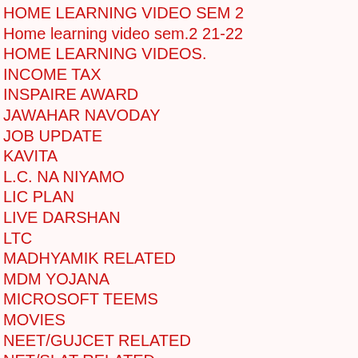HOME LEARNING VIDEO SEM 2
Home learning video sem.2 21-22
HOME LEARNING VIDEOS.
INCOME TAX
INSPAIRE AWARD
JAWAHAR NAVODAY
JOB UPDATE
KAVITA
L.C. NA NIYAMO
LIC PLAN
LIVE DARSHAN
LTC
MADHYAMIK RELATED
MDM YOJANA
MICROSOFT TEEMS
MOVIES
NEET/GUJCET RELATED
NET/SLAT RELATED
NEWS OTHER